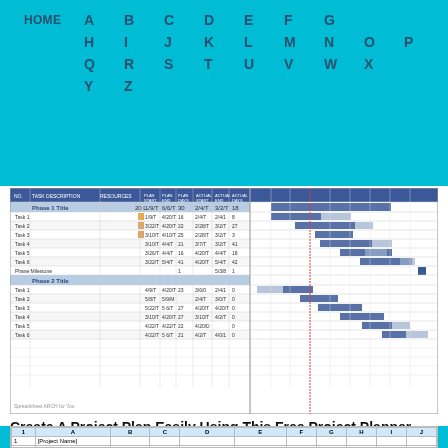HOME  A  B  C  D  E  F  G  H  I  J  K  L  M  N  O  P  Q  R  S  T  U  V  W  X  Y  Z
[Figure (other): Screenshot of a project planner Gantt chart spreadsheet with Phase 1 and Phase 2 tasks, dates, and horizontal bar charts in blue and gray]
Create A Project Plan Easily Using This Free Project Planner .
| 1 | A | B | C | D | E | F | G | H | I | J |
| --- | --- | --- | --- | --- | --- | --- | --- | --- | --- | --- |
| [Project Name] |  |  |  |  |  |  |  |  |  |  |
|   2  [Company here] |  |  | *Start Date | =DATE(...) |  |  |  |  |  |  |